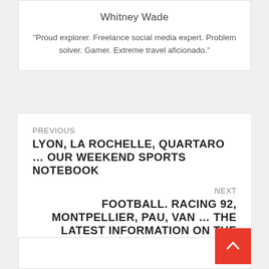Whitney Wade
“Proud explorer. Freelance social media expert. Problem solver. Gamer. Extreme travel aficionado.”
PREVIOUS
LYON, LA ROCHELLE, QUARTARO … OUR WEEKEND SPORTS NOTEBOOK
NEXT
FOOTBALL. RACING 92, MONTPELLIER, PAU, VAN … THE LATEST INFORMATION ON THE TRANSFER MARKET